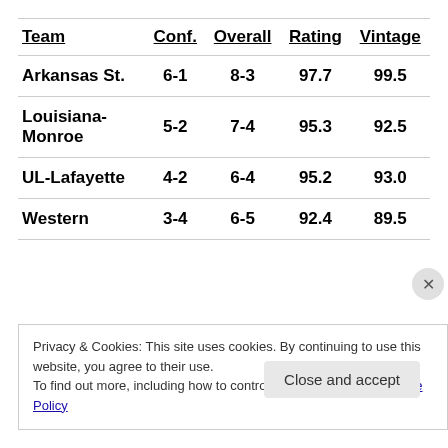| Team | Conf. | Overall | Rating | Vintage |
| --- | --- | --- | --- | --- |
| Arkansas St. | 6-1 | 8-3 | 97.7 | 99.5 |
| Louisiana-Monroe | 5-2 | 7-4 | 95.3 | 92.5 |
| UL-Lafayette | 4-2 | 6-4 | 95.2 | 93.0 |
| Western | 3-4 | 6-5 | 92.4 | 89.5 |
Privacy & Cookies: This site uses cookies. By continuing to use this website, you agree to their use.
To find out more, including how to control cookies, see here: Cookie Policy